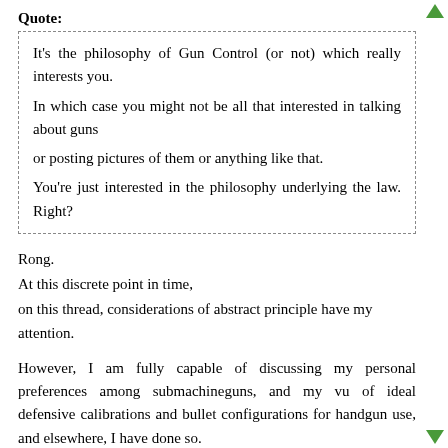Quote:
It's the philosophy of Gun Control (or not) which really interests you.
In which case you might not be all that interested in talking about guns
or posting pictures of them or anything like that.
You're just interested in the philosophy underlying the law. Right?
Rong.
At this discrete point in time,
on this thread, considerations of abstract principle have my attention.
However, I am fully capable of discussing my personal preferences among submachineguns, and my vu of ideal defensive calibrations and bullet configurations for handgun use, and elsewhere, I have done so.
I remember daydreaming at the age of 3 about the revolvers